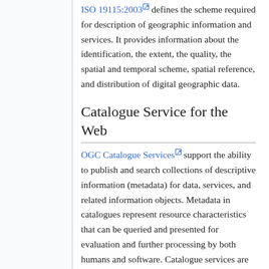ISO 19115:2003 defines the scheme required for description of geographic information and services. It provides information about the identification, the extent, the quality, the spatial and temporal scheme, spatial reference, and distribution of digital geographic data.
Catalogue Service for the Web
OGC Catalogue Services support the ability to publish and search collections of descriptive information (metadata) for data, services, and related information objects. Metadata in catalogues represent resource characteristics that can be queried and presented for evaluation and further processing by both humans and software. Catalogue services are required to support the